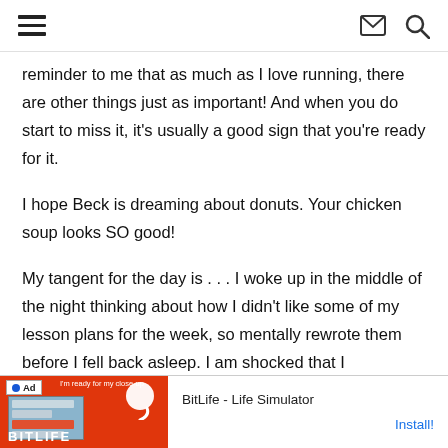Navigation header with hamburger menu, mail icon, and search icon
reminder to me that as much as I love running, there are other things just as important! And when you do start to miss it, it’s usually a good sign that you’re ready for it.
I hope Beck is dreaming about donuts. Your chicken soup looks SO good!
My tangent for the day is . . . I woke up in the middle of the night thinking about how I didn’t like some of my lesson plans for the week, so mentally rewrote them before I fell back asleep. I am shocked that I
[Figure (screenshot): Ad banner for BitLife - Life Simulator app with orange/red background, Ad label, sperm logo icon, BitLife branding text, and Install button]